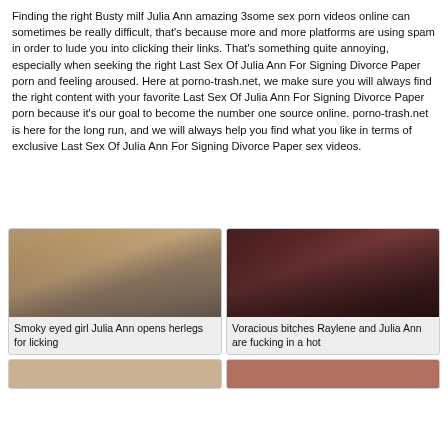Finding the right Busty milf Julia Ann amazing 3some sex porn videos online can sometimes be really difficult, that's because more and more platforms are using spam in order to lude you into clicking their links. That's something quite annoying, especially when seeking the right Last Sex Of Julia Ann For Signing Divorce Paper porn and feeling aroused. Here at porno-trash.net, we make sure you will always find the right content with your favorite Last Sex Of Julia Ann For Signing Divorce Paper porn because it's our goal to become the number one source online. porno-trash.net is here for the long run, and we will always help you find what you like in terms of exclusive Last Sex Of Julia Ann For Signing Divorce Paper sex videos.
[Figure (photo): Thumbnail of blonde woman - Smoky eyed girl Julia Ann opens herlegs for licking]
[Figure (photo): Thumbnail of dark-haired woman in red-lit scene - Voracious bitches Raylene and Julia Ann are fucking in a hot]
[Figure (photo): Partial thumbnail bottom left]
[Figure (photo): Partial thumbnail bottom right]